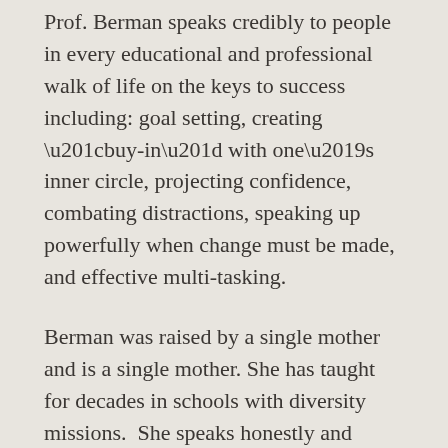Prof. Berman speaks credibly to people in every educational and professional walk of life on the keys to success including: goal setting, creating “buy-in” with one’s inner circle, projecting confidence, combating distractions, speaking up powerfully when change must be made, and effective multi-tasking.
Berman was raised by a single mother and is a single mother. She has taught for decades in schools with diversity missions.  She speaks honestly and credibly about personal challenges and inspires through words, passion, and endless energy, pointing the way not only to survive but to thrive.
Berman has directed departments, served on